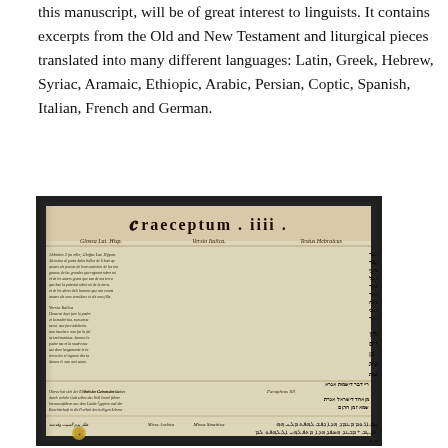this manuscript, will be of great interest to linguists. It contains excerpts from the Old and New Testament and liturgical pieces translated into many different languages: Latin, Greek, Hebrew, Syriac, Aramaic, Ethiopic, Arabic, Persian, Coptic, Spanish, Italian, French and German.
[Figure (photo): A photograph of an open manuscript page showing multilingual text including Latin, Hebrew, Syriac, and Arabic scripts. The page header reads 'Praeceptum iiii' in ornate Latin script. Multiple columns display different language scripts side by side.]